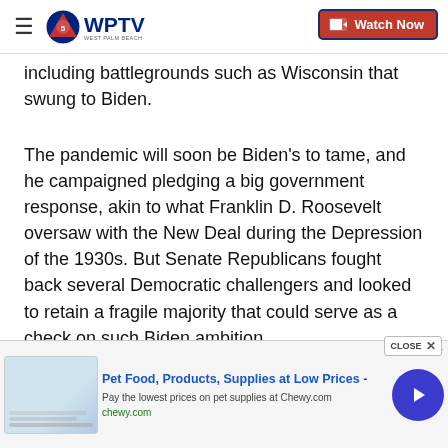WPTV – Watch Now
including battlegrounds such as Wisconsin that swung to Biden.
The pandemic will soon be Biden's to tame, and he campaigned pledging a big government response, akin to what Franklin D. Roosevelt oversaw with the New Deal during the Depression of the 1930s. But Senate Republicans fought back several Democratic challengers and looked to retain a fragile majority that could serve as a check on such Biden ambition.
The 2020 campaign was a referendum on Trump's
[Figure (screenshot): Advertisement banner: Pet Food, Products, Supplies at Low Prices - Chewy.com with close button and arrow navigation]